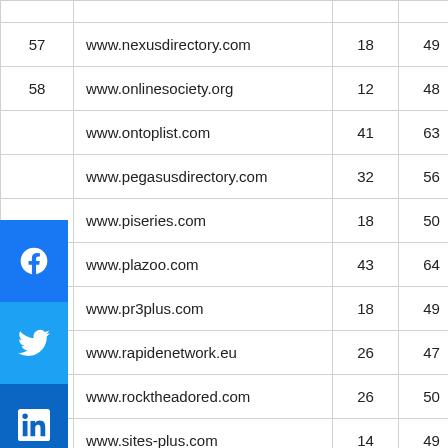| # | URL | Col1 | Col2 |
| --- | --- | --- | --- |
| 57 | www.nexusdirectory.com | 18 | 49 |
| 58 | www.onlinesociety.org | 12 | 48 |
|  | www.ontoplist.com | 41 | 63 |
|  | www.pegasusdirectory.com | 32 | 56 |
|  | www.piseries.com | 18 | 50 |
|  | www.plazoo.com | 43 | 64 |
|  | www.pr3plus.com | 18 | 49 |
| 64 | www.rapidenetwork.eu | 26 | 47 |
| 65 | www.rocktheadored.com | 26 | 50 |
| 66 | www.sites-plus.com | 14 | 49 |